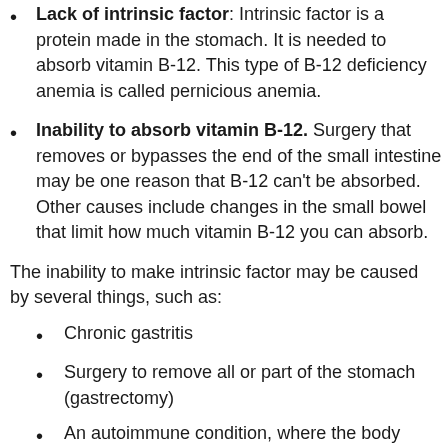Lack of intrinsic factor. Intrinsic factor is a protein made in the stomach. It is needed to absorb vitamin B-12. This type of B-12 deficiency anemia is called pernicious anemia.
Inability to absorb vitamin B-12. Surgery that removes or bypasses the end of the small intestine may be one reason that B-12 can't be absorbed. Other causes include changes in the small bowel that limit how much vitamin B-12 you can absorb.
The inability to make intrinsic factor may be caused by several things, such as:
Chronic gastritis
Surgery to remove all or part of the stomach (gastrectomy)
An autoimmune condition, where the body attacks its own tissues